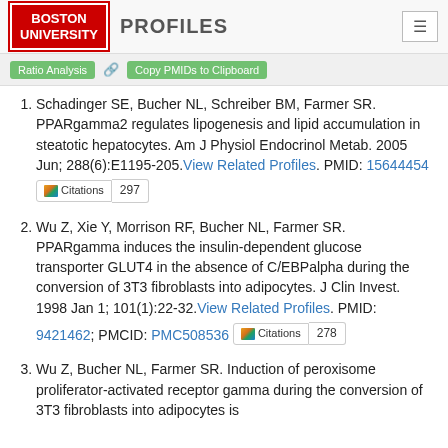BOSTON UNIVERSITY Profiles
Schadinger SE, Bucher NL, Schreiber BM, Farmer SR. PPARgamma2 regulates lipogenesis and lipid accumulation in steatotic hepatocytes. Am J Physiol Endocrinol Metab. 2005 Jun; 288(6):E1195-205. View Related Profiles. PMID: 15644454 Citations 297
Wu Z, Xie Y, Morrison RF, Bucher NL, Farmer SR. PPARgamma induces the insulin-dependent glucose transporter GLUT4 in the absence of C/EBPalpha during the conversion of 3T3 fibroblasts into adipocytes. J Clin Invest. 1998 Jan 1; 101(1):22-32. View Related Profiles. PMID: 9421462; PMCID: PMC508536 Citations 278
Wu Z, Bucher NL, Farmer SR. Induction of peroxisome proliferator-activated receptor gamma during the conversion of 3T3 fibroblasts into adipocytes is